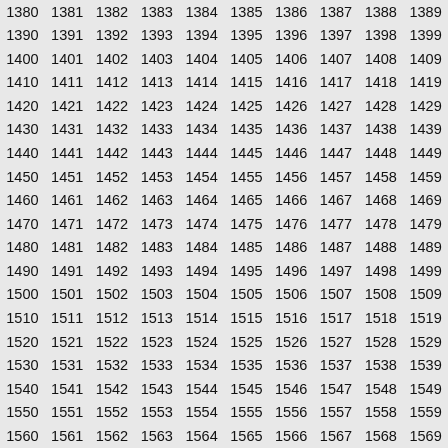| 1380 | 1381 | 1382 | 1383 | 1384 | 1385 | 1386 | 1387 | 1388 | 1389 |
| 1390 | 1391 | 1392 | 1393 | 1394 | 1395 | 1396 | 1397 | 1398 | 1399 |
| 1400 | 1401 | 1402 | 1403 | 1404 | 1405 | 1406 | 1407 | 1408 | 1409 |
| 1410 | 1411 | 1412 | 1413 | 1414 | 1415 | 1416 | 1417 | 1418 | 1419 |
| 1420 | 1421 | 1422 | 1423 | 1424 | 1425 | 1426 | 1427 | 1428 | 1429 |
| 1430 | 1431 | 1432 | 1433 | 1434 | 1435 | 1436 | 1437 | 1438 | 1439 |
| 1440 | 1441 | 1442 | 1443 | 1444 | 1445 | 1446 | 1447 | 1448 | 1449 |
| 1450 | 1451 | 1452 | 1453 | 1454 | 1455 | 1456 | 1457 | 1458 | 1459 |
| 1460 | 1461 | 1462 | 1463 | 1464 | 1465 | 1466 | 1467 | 1468 | 1469 |
| 1470 | 1471 | 1472 | 1473 | 1474 | 1475 | 1476 | 1477 | 1478 | 1479 |
| 1480 | 1481 | 1482 | 1483 | 1484 | 1485 | 1486 | 1487 | 1488 | 1489 |
| 1490 | 1491 | 1492 | 1493 | 1494 | 1495 | 1496 | 1497 | 1498 | 1499 |
| 1500 | 1501 | 1502 | 1503 | 1504 | 1505 | 1506 | 1507 | 1508 | 1509 |
| 1510 | 1511 | 1512 | 1513 | 1514 | 1515 | 1516 | 1517 | 1518 | 1519 |
| 1520 | 1521 | 1522 | 1523 | 1524 | 1525 | 1526 | 1527 | 1528 | 1529 |
| 1530 | 1531 | 1532 | 1533 | 1534 | 1535 | 1536 | 1537 | 1538 | 1539 |
| 1540 | 1541 | 1542 | 1543 | 1544 | 1545 | 1546 | 1547 | 1548 | 1549 |
| 1550 | 1551 | 1552 | 1553 | 1554 | 1555 | 1556 | 1557 | 1558 | 1559 |
| 1560 | 1561 | 1562 | 1563 | 1564 | 1565 | 1566 | 1567 | 1568 | 1569 |